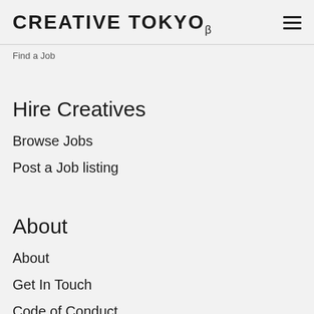CREATIVE TOKYO β
Find a Job
Hire Creatives
Browse Jobs
Post a Job listing
About
About
Get In Touch
Code of Conduct
Privacy Policy